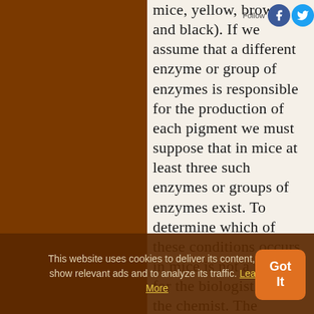mice, yellow, brown, and black). If we assume that a different enzyme or group of enzymes is responsible for the production of each pigment we must suppose that in mice at least three such enzymes or groups of enzymes exist. To determine which of these conditions occurs in mice is not a problem for the biologist, but for the chemist. The biologist must confine his attention to determining the number of distinct agencies at